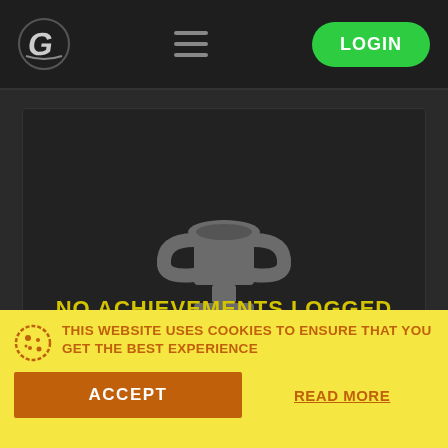[Figure (screenshot): Website navigation bar with a stylized G logo on the left, hamburger menu icon in the center, and a green LOGIN button on the right]
[Figure (illustration): Gray trophy icon on a dark background]
NO ACHIEVEMENTS LOGGED
Please check back later...
MORE
THIS WEBSITE USES COOKIES TO ENSURE THAT YOU GET THE BEST EXPERIENCE
ACCEPT
READ MORE